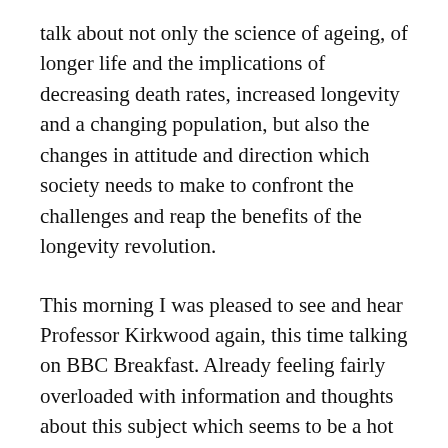talk about not only the science of ageing, of longer life and the implications of decreasing death rates, increased longevity and a changing population, but also the changes in attitude and direction which society needs to make to confront the challenges and reap the benefits of the longevity revolution.
This morning I was pleased to see and hear Professor Kirkwood again, this time talking on BBC Breakfast. Already feeling fairly overloaded with information and thoughts about this subject which seems to be a hot topic just at the moment, I'm now preparing myself for a further information onslaught as the Beeb's Breakfast show focuses firmly on the subject of